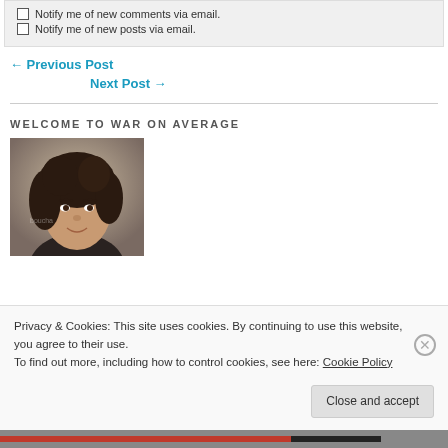Notify me of new comments via email.
Notify me of new posts via email.
← Previous Post
Next Post →
WELCOME TO WAR ON AVERAGE
[Figure (photo): Portrait photo of a woman with curly dark hair, smiling, wearing a dark top. Watermark visible.]
Privacy & Cookies: This site uses cookies. By continuing to use this website, you agree to their use.
To find out more, including how to control cookies, see here: Cookie Policy
Close and accept